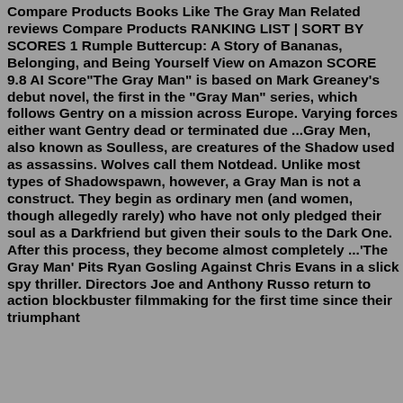Compare Products Books Like The Gray Man Related reviews Compare Products RANKING LIST | SORT BY SCORES 1 Rumple Buttercup: A Story of Bananas, Belonging, and Being Yourself View on Amazon SCORE 9.8 AI Score"The Gray Man" is based on Mark Greaney's debut novel, the first in the "Gray Man" series, which follows Gentry on a mission across Europe. Varying forces either want Gentry dead or terminated due ...Gray Men, also known as Soulless, are creatures of the Shadow used as assassins. Wolves call them Notdead. Unlike most types of Shadowspawn, however, a Gray Man is not a construct. They begin as ordinary men (and women, though allegedly rarely) who have not only pledged their soul as a Darkfriend but given their souls to the Dark One. After this process, they become almost completely ...'The Gray Man' Pits Ryan Gosling Against Chris Evans in a slick spy thriller. Directors Joe and Anthony Russo return to action blockbuster filmmaking for the first time since their triumphant